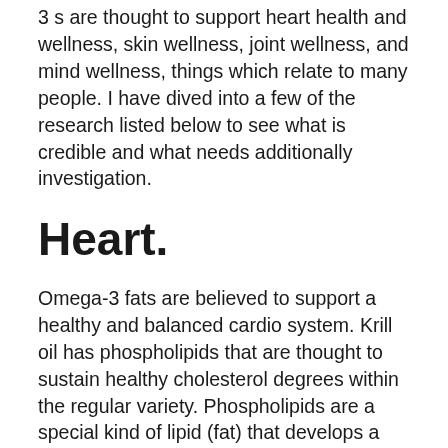3 s are thought to support heart health and wellness, skin wellness, joint wellness, and mind wellness, things which relate to many people. I have dived into a few of the research listed below to see what is credible and what needs additionally investigation.
Heart.
Omega-3 fats are believed to support a healthy and balanced cardio system. Krill oil has phospholipids that are thought to sustain healthy cholesterol degrees within the regular variety. Phospholipids are a special kind of lipid (fat) that develops a part of every cell membrane as well as aids to manage particles as well as ions coming on and also out of the cell. Krill Oil Plus includes